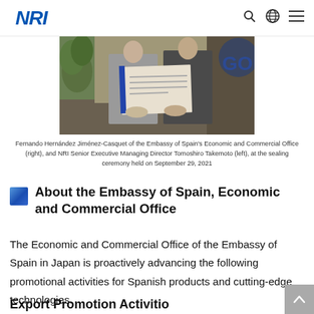NRI
[Figure (photo): Two people holding open documents/agreements at a sealing ceremony, with a plant visible on the left and a blue logo partially visible on the right.]
Fernando Hernández Jiménez-Casquet of the Embassy of Spain's Economic and Commercial Office (right), and NRI Senior Executive Managing Director Tomoshiro Takemoto (left), at the sealing ceremony held on September 29, 2021
About the Embassy of Spain, Economic and Commercial Office
The Economic and Commercial Office of the Embassy of Spain in Japan is proactively advancing the following promotional activities for Spanish products and cutting-edge technologies.
Export Promotion Activities